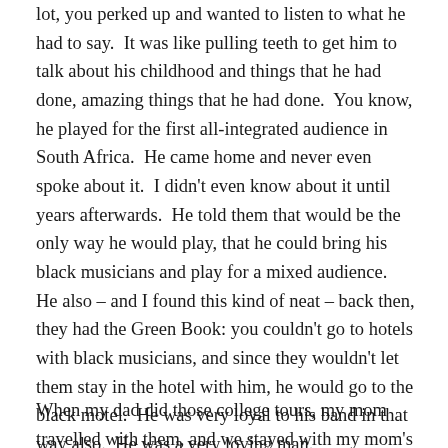lot, you perked up and wanted to listen to what he had to say.  It was like pulling teeth to get him to talk about his childhood and things that he had done, amazing things that he had done.  You know, he played for the first all-integrated audience in South Africa.  He came home and never even spoke about it.  I didn't even know about it until years afterwards.  He told them that would be the only way he would play, that he could bring his black musicians and play for a mixed audience.  He also – and I found this kind of neat – back then, they had the Green Book: you couldn't go to hotels with black musicians, and since they wouldn't let them stay in the hotel with him, he would go to the black motel.  He was very loyal to his band in that way also.  He was a very loving man.
When my dad did those college tours, my mom travelled with them, and we stayed with my mom's sister.  My